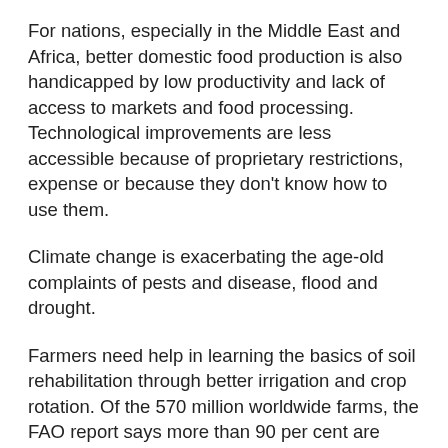For nations, especially in the Middle East and Africa, better domestic food production is also handicapped by low productivity and lack of access to markets and food processing. Technological improvements are less accessible because of proprietary restrictions, expense or because they don't know how to use them.
Climate change is exacerbating the age-old complaints of pests and disease, flood and drought.
Farmers need help in learning the basics of soil rehabilitation through better irrigation and crop rotation. Of the 570 million worldwide farms, the FAO report says more than 90 per cent are managed and worked by an individual or a family. Most of these farms are less than 2 hectares yet they produce more than 80 per cent of the world's food.
Then there is the problem of what we eat.
Fast food, rich in carbohydrates and sugars, is quick and cheap. Meals with vitamins and minerals take longer and